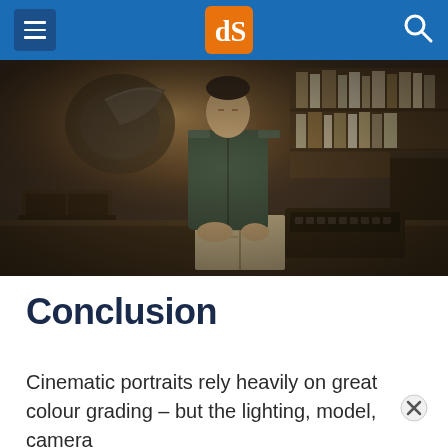dPS website navigation header with menu icon, dPS logo, and search icon
[Figure (photo): Cinematic portrait of a man in a military uniform sitting at a desk with a typewriter, gramophone, and bookshelves in a dimly lit, atmospheric room with warm hazy light.]
Conclusion
Cinematic portraits rely heavily on great colour grading – but the lighting, model, camera